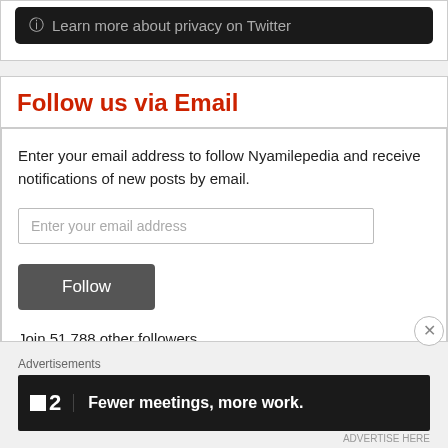[Figure (screenshot): Dark rounded box with info icon and text: Learn more about privacy on Twitter]
Follow us via Email
Enter your email address to follow Nyamilepedia and receive notifications of new posts by email.
Enter your email address
Follow
Join 51,788 other followers
Advertisements
[Figure (screenshot): Dark advertisement banner with F2 logo and text: Fewer meetings, more work.]